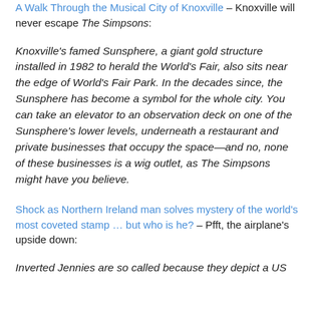A Walk Through the Musical City of Knoxville – Knoxville will never escape The Simpsons:
Knoxville's famed Sunsphere, a giant gold structure installed in 1982 to herald the World's Fair, also sits near the edge of World's Fair Park. In the decades since, the Sunsphere has become a symbol for the whole city. You can take an elevator to an observation deck on one of the Sunsphere's lower levels, underneath a restaurant and private businesses that occupy the space—and no, none of these businesses is a wig outlet, as The Simpsons might have you believe.
Shock as Northern Ireland man solves mystery of the world's most coveted stamp … but who is he? – Pfft, the airplane's upside down:
Inverted Jennies are so called because they depict a US